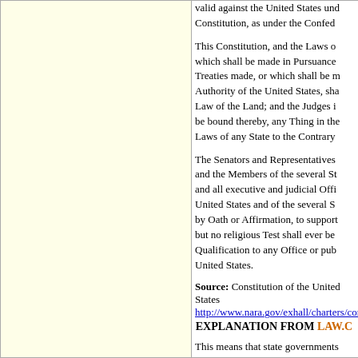valid against the United States under this Constitution, as under the Confe...
This Constitution, and the Laws of which shall be made in Pursuance thereof; and all Treaties made, or which shall be made, under the Authority of the United States, shall be the supreme Law of the Land; and the Judges in every State shall be bound thereby, any Thing in the Constitution or Laws of any State to the Contrary notwithstanding.
The Senators and Representatives before mentioned, and the Members of the several State Legislatures, and all executive and judicial Officers, both of the United States and of the several States, shall be bound by Oath or Affirmation, to support this Constitution; but no religious Test shall ever be required as a Qualification to any Office or public Trust under the United States.
Source: Constitution of the United States http://www.nara.gov/exhall/charters/const...
EXPLANATION FROM LAW.C...
This means that state governments and of or pass laws that interfere with the Consti Congress, or treaties. The Constitution wa giving the Supreme Court the power to in that interfere with the Constitution and h...